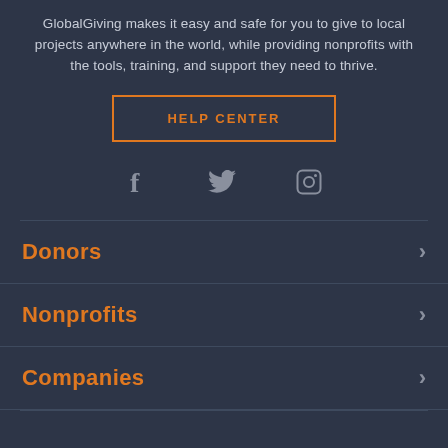GlobalGiving makes it easy and safe for you to give to local projects anywhere in the world, while providing nonprofits with the tools, training, and support they need to thrive.
HELP CENTER
[Figure (illustration): Social media icons: Facebook (f), Twitter (bird), Instagram (camera)]
Donors
Nonprofits
Companies